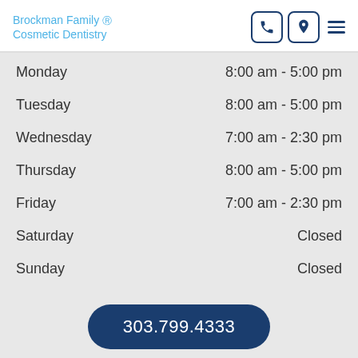Brockman Family & Cosmetic Dentistry
| Day | Hours |
| --- | --- |
| Monday | 8:00 am - 5:00 pm |
| Tuesday | 8:00 am - 5:00 pm |
| Wednesday | 7:00 am - 2:30 pm |
| Thursday | 8:00 am - 5:00 pm |
| Friday | 7:00 am - 2:30 pm |
| Saturday | Closed |
| Sunday | Closed |
303.799.4333